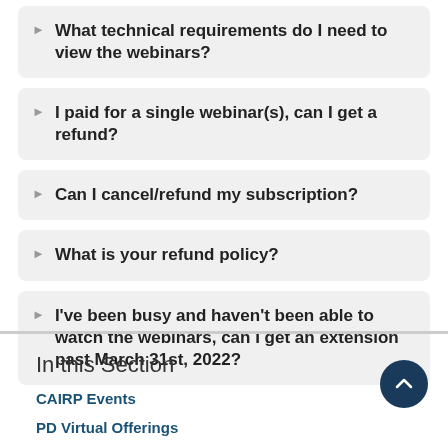What technical requirements do I need to view the webinars?
I paid for a single webinar(s), can I get a refund?
Can I cancel/refund my subscription?
What is your refund policy?
I've been busy and haven't been able to watch the webinars, can I get an extension past March 31st, 2022?
In this Section
CAIRP Events
PD Virtual Offerings